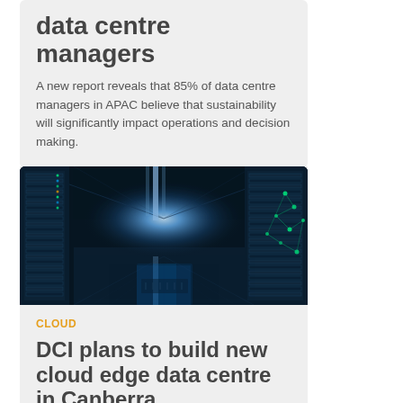data centre managers
A new report reveals that 85% of data centre managers in APAC believe that sustainability will significantly impact operations and decision making.
[Figure (photo): Interior of a data centre corridor with server racks illuminated in blue and green light, with a bright light at the end of the aisle]
CLOUD
DCI plans to build new cloud edge data centre in Canberra